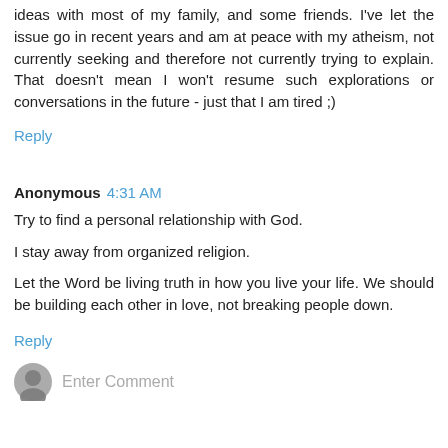ideas with most of my family, and some friends. I've let the issue go in recent years and am at peace with my atheism, not currently seeking and therefore not currently trying to explain. That doesn't mean I won't resume such explorations or conversations in the future - just that I am tired ;)
Reply
Anonymous 4:31 AM
Try to find a personal relationship with God.
I stay away from organized religion.
Let the Word be living truth in how you live your life. We should be building each other in love, not breaking people down.
Reply
Enter Comment